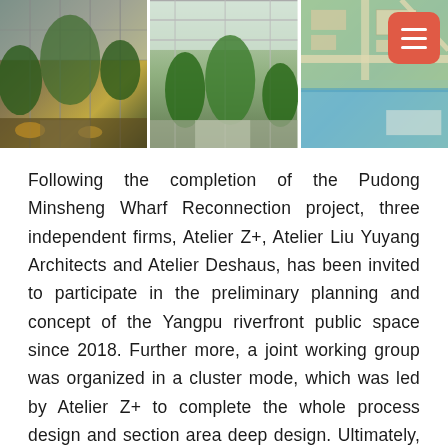[Figure (photo): Three photographs in a row: left shows a metal lattice structure building with trees and warm lighting at dusk; center shows a glass greenhouse-like structure with lush greenery and a pathway; right shows an aerial/plan view map of a waterfront development site.]
Following the completion of the Pudong Minsheng Wharf Reconnection project, three independent firms, Atelier Z+, Atelier Liu Yuyang Architects and Atelier Deshaus, has been invited to participate in the preliminary planning and concept of the Yangpu riverfront public space since 2018. Further more, a joint working group was organized in a cluster mode, which was led by Atelier Z+ to complete the whole process design and section area deep design. Ultimately, it hopes to achieve limited intervention and low impact development. With minimum manual intervention, the authenticity of industrial docks is retained to the